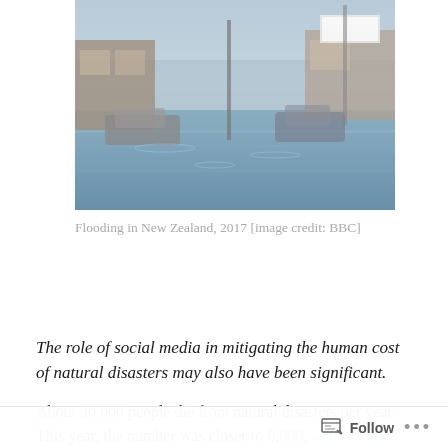[Figure (photo): Flood scene in New Zealand showing submerged street with vehicles partially underwater and flooded buildings in background]
Flooding in New Zealand, 2017 [image credit: BBC]
The role of social media in mitigating the human cost of natural disasters may also have been significant.
About 30,000 people die from natural disasters per year. This year, the number was closer to 6,000, writes Seth Borenstein in the Toronto Star.
North America couldn't catch a break in 2017. Parts of the
Follow ...